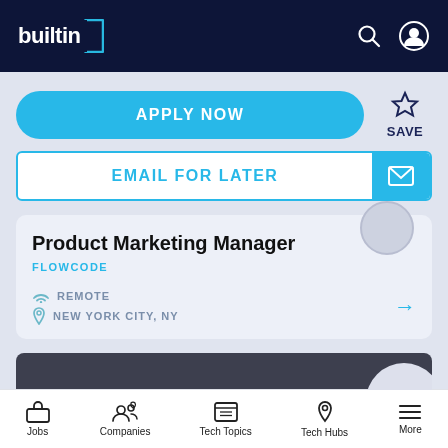builtin
APPLY NOW
SAVE
EMAIL FOR LATER
Product Marketing Manager
FLOWCODE
REMOTE
NEW YORK CITY, NY
MARKETING
Jobs  Companies  Tech Topics  Tech Hubs  More